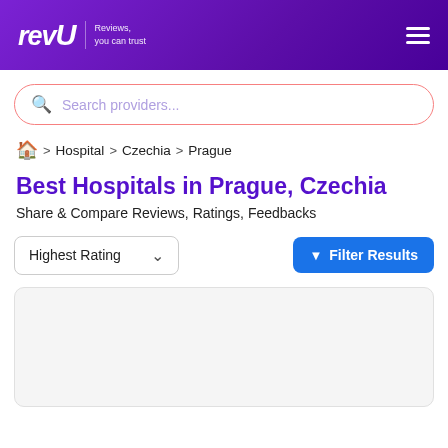revU — Reviews, you can trust
Search providers...
🏠 > Hospital > Czechia > Prague
Best Hospitals in Prague, Czechia
Share & Compare Reviews, Ratings, Feedbacks
Highest Rating
Filter Results
[Figure (other): Gray placeholder card area at the bottom of the page]